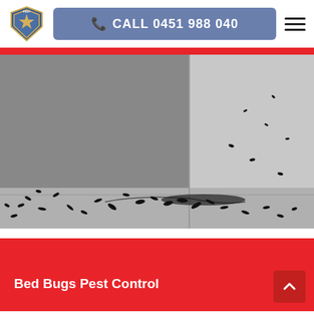[Figure (logo): Pest control badge logo with star and shield]
CALL 0451 988 040
[Figure (photo): Black and white photo of ants gathered at the base of a wall corner]
Bed Bugs Pest Control